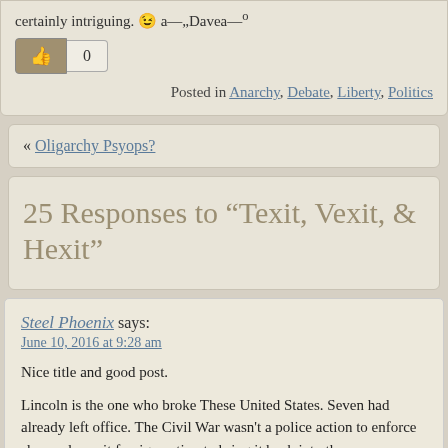certainly intriguing. 😉 â„Daveâº
👍 0
Posted in Anarchy, Debate, Liberty, Politics
« Oligarchy Psyops?
25 Responses to “Texit, Vexit, & Hexit”
Steel Phoenix says:
June 10, 2016 at 9:28 am

Nice title and good post.

Lincoln is the one who broke These United States. Seven had already left office. The Civil War wasn't a police action to enforce slavery laws, it foreign nation to bring it back into the power structure. I don't believe power structure would let anyone secede today either.